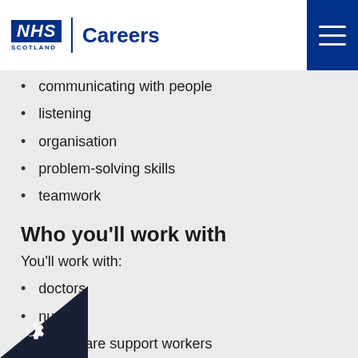NHS Scotland | Careers
communicating with people
listening
organisation
problem-solving skills
teamwork
Who you'll work with
You'll work with:
doctors
nurses
healthcare support workers
human resources staff
health records staff
personal assistants
receptionists